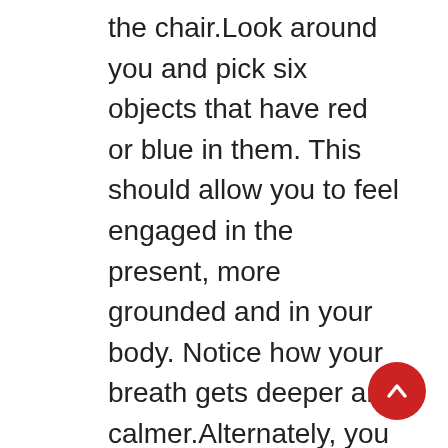the chair.Look around you and pick six objects that have red or blue in them. This should allow you to feel engaged in the present, more grounded and in your body. Notice how your breath gets deeper and calmer.Alternately, you may want to go outdoors and find a peaceful place to sit on the grass, and feel supported by the ground.Tip 7: Eat and sleep wellThe food you eat can improve or worsen your mood and affect your ability to cope with traumatic stress. Eating a diet full of processed and convenience food, refined carbohydrates, and sugary snacks can worsen symptoms traumatic stress. Conversely, eating a diet